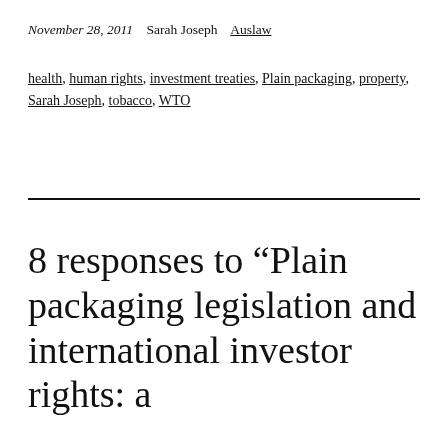November 28, 2011   Sarah Joseph   Auslaw
health, human rights, investment treaties, Plain packaging, property, Sarah Joseph, tobacco, WTO
8 responses to “Plain packaging legislation and international investor rights: a